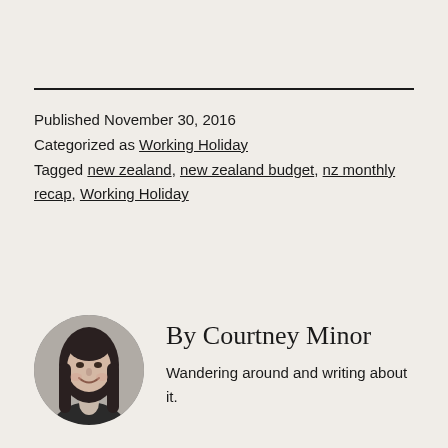Published November 30, 2016
Categorized as Working Holiday
Tagged new zealand, new zealand budget, nz monthly recap, Working Holiday
[Figure (photo): Circular portrait photo of Courtney Minor, a woman with long dark hair, smiling, in black and white]
By Courtney Minor
Wandering around and writing about it.